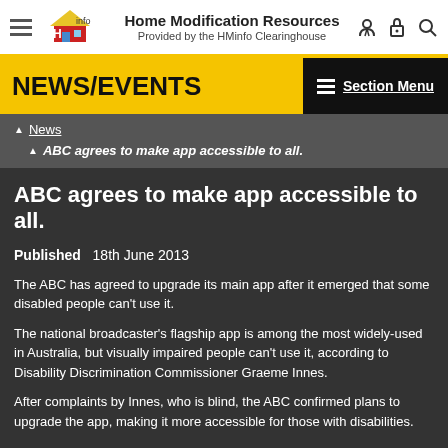Home Modification Resources — Provided by the HMinfo Clearinghouse
NEWS/EVENTS
News
ABC agrees to make app accessible to all.
ABC agrees to make app accessible to all.
Published   18th June 2013
The ABC has agreed to upgrade its main app after it emerged that some disabled people can't use it.
The national broadcaster's flagship app is among the most widely-used in Australia, but visually impaired people can't use it, according to Disability Discrimination Commissioner Graeme Innes.
After complaints by Innes, who is blind, the ABC confirmed plans to upgrade the app, making it more accessible for those with disabilities.